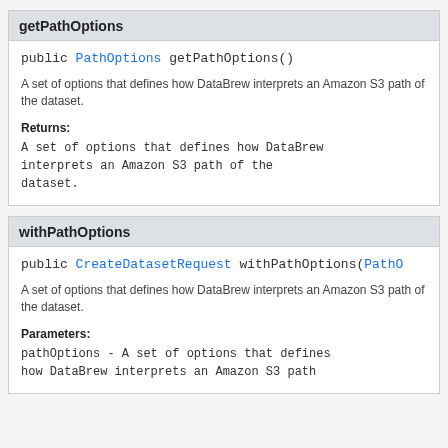getPathOptions
public PathOptions getPathOptions()
A set of options that defines how DataBrew interprets an Amazon S3 path of the dataset.
Returns:
A set of options that defines how DataBrew interprets an Amazon S3 path of the dataset.
withPathOptions
public CreateDatasetRequest withPathOptions(PathO
A set of options that defines how DataBrew interprets an Amazon S3 path of the dataset.
Parameters:
pathOptions - A set of options that defines how DataBrew interprets an Amazon S3 path